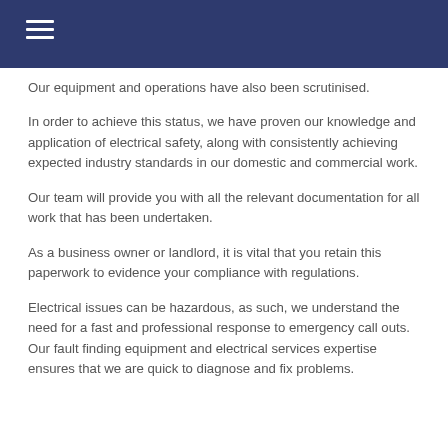Our equipment and operations have also been scrutinised.
In order to achieve this status, we have proven our knowledge and application of electrical safety, along with consistently achieving expected industry standards in our domestic and commercial work.
Our team will provide you with all the relevant documentation for all work that has been undertaken.
As a business owner or landlord, it is vital that you retain this paperwork to evidence your compliance with regulations.
Electrical issues can be hazardous, as such, we understand the need for a fast and professional response to emergency call outs. Our fault finding equipment and electrical services expertise ensures that we are quick to diagnose and fix problems.